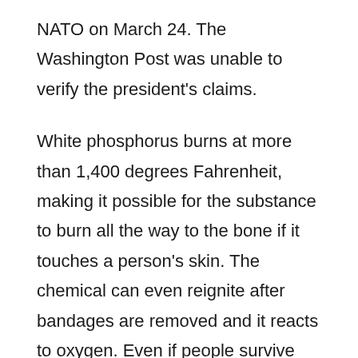NATO on March 24. The Washington Post was unable to verify the president's claims.
White phosphorus burns at more than 1,400 degrees Fahrenheit, making it possible for the substance to burn all the way to the bone if it touches a person's skin. The chemical can even reignite after bandages are removed and it reacts to oxygen. Even if people survive the burns, they could die from organ failure.
Other chemicals are sometimes mistaken for white phosphorus. For example, chemicals used